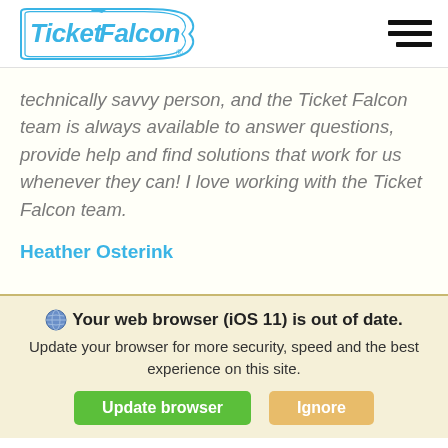[Figure (logo): Ticket Falcon logo in blue with a stylized falcon above the text inside a rounded rectangle badge shape]
technically savvy person, and the Ticket Falcon team is always available to answer questions, provide help and find solutions that work for us whenever they can! I love working with the Ticket Falcon team.
Heather Osterink
Your web browser (iOS 11) is out of date. Update your browser for more security, speed and the best experience on this site.